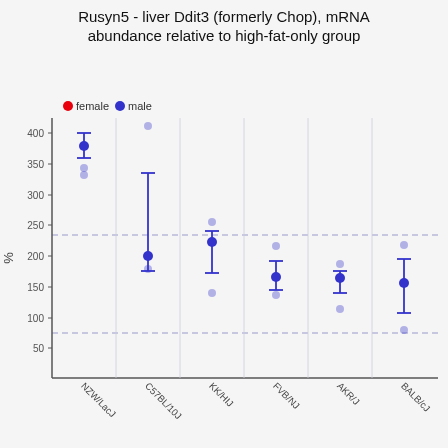Rusyn5 - liver Ddit3 (formerly Chop), mRNA abundance relative to high-fat-only group
[Figure (scatter-plot): Dot plot with error bars showing mRNA abundance (%) relative to high-fat-only group for 6 mouse strains. Male data points shown in blue, female in red. Two horizontal dashed reference lines at approximately 75% and 237%. Individual data points shown as semi-transparent dots with mean and error bars.]